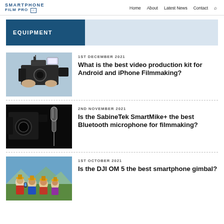SMARTPHONE FILM PRO [o] — Home  About  Latest News  Contact
EQUIPMENT
1ST DECEMBER 2021
What is the best video production kit for Android and iPhone Filmmaking?
2ND NOVEMBER 2021
Is the SabineTek SmartMike+ the best Bluetooth microphone for filmmaking?
1ST OCTOBER 2021
Is the DJI OM 5 the best smartphone gimbal?